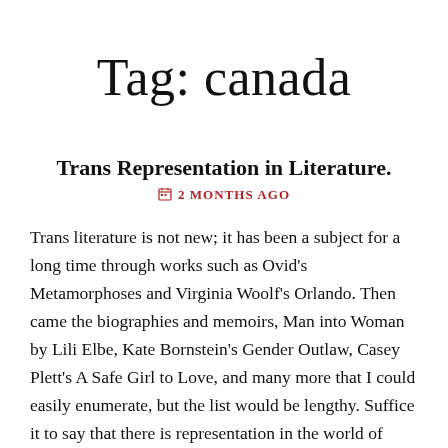Tag: canada
Trans Representation in Literature.
2 MONTHS AGO
Trans literature is not new; it has been a subject for a long time through works such as Ovid's Metamorphoses and Virginia Woolf's Orlando. Then came the biographies and memoirs, Man into Woman by Lili Elbe, Kate Bornstein's Gender Outlaw, Casey Plett's A Safe Girl to Love, and many more that I could easily enumerate, but the list would be lengthy. Suffice it to say that there is representation in the world of literature, from biographies and memoirs to fiction and children's books and